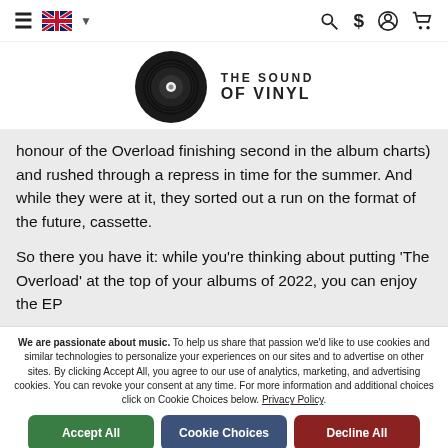THE SOUND OF VINYL — navigation header with hamburger menu, UK flag, search, dollar, account, cart icons
[Figure (logo): The Sound of Vinyl logo: vinyl record icon with THE SOUND OF VINYL text]
honour of the Overload finishing second in the album charts) and rushed through a repress in time for the summer. And while they were at it, they sorted out a run on the format of the future, cassette.
So there you have it: while you're thinking about putting 'The Overload' at the top of your albums of 2022, you can enjoy the EP
We are passionate about music. To help us share that passion we'd like to use cookies and similar technologies to personalize your experiences on our sites and to advertise on other sites. By clicking Accept All, you agree to our use of analytics, marketing, and advertising cookies. You can revoke your consent at any time. For more information and additional choices click on Cookie Choices below. Privacy Policy.
Accept All
Cookie Choices
Decline All